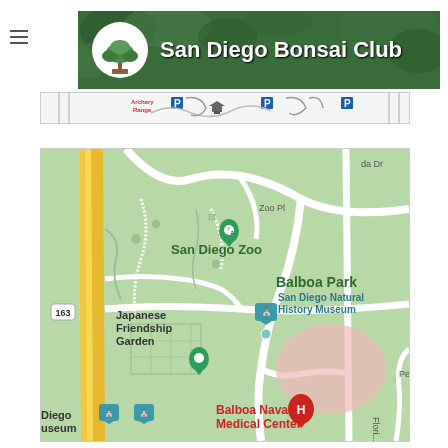[Figure (logo): San Diego Bonsai Club banner logo with bonsai tree graphic and white text on dark green background with tree foliage]
[Figure (map): Partial park map strip showing Archery Range label, parking symbols (P), and stylized icons of park features]
[Figure (map): Google Maps view of Balboa Park area showing San Diego Zoo, Japanese Friendship Garden, San Diego Natural History Museum, Balboa Naval Medical Center, highway 163, and surrounding streets]